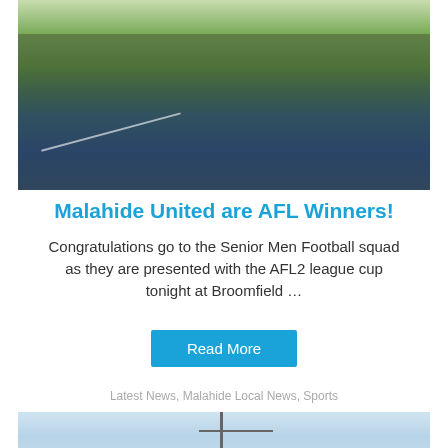[Figure (photo): Group photo of Malahide United Senior Men Football squad on a grass pitch, players wearing blue jerseys, holding a cup trophy, taken outdoors at Broomfield.]
Malahide United are AFL Winners!
Congratulations go to the Senior Men Football squad as they are presented with the AFL2 league cup tonight at Broomfield …
Read More
Latest News, Malahide Local News, Sports
[Figure (photo): Partial photo showing a football goalpost against a light blue sky background.]